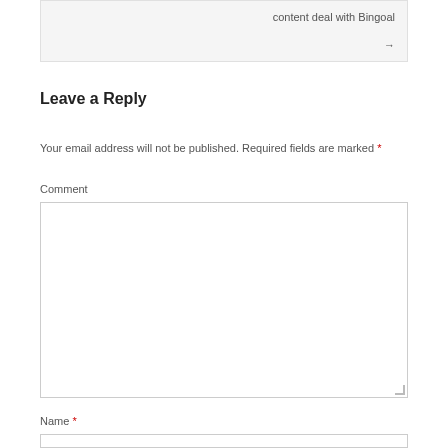content deal with Bingoal →
Leave a Reply
Your email address will not be published. Required fields are marked *
Comment
Name *